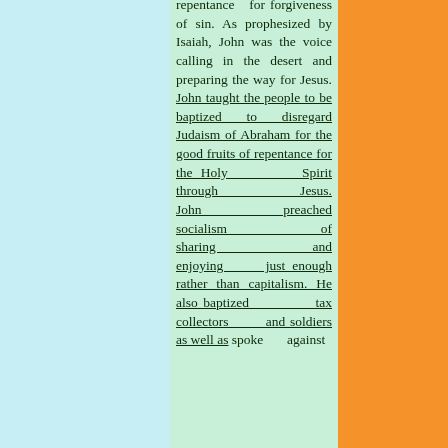repentance for forgiveness of sin. As prophesized by Isaiah, John was the voice calling in the desert and preparing the way for Jesus. John taught the people to be baptized to disregard Judaism of Abraham for the good fruits of repentance for the Holy Spirit through Jesus. John preached socialism of sharing and enjoying just enough rather than capitalism. He also baptized tax collectors and soldiers as well as spoke against